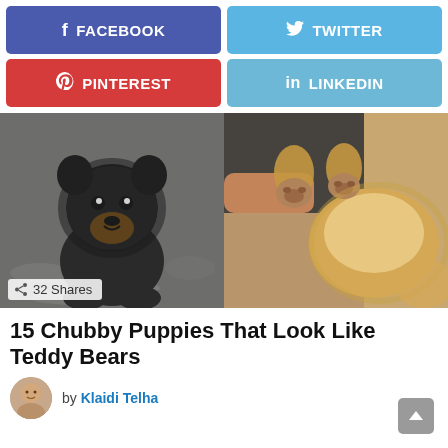[Figure (infographic): Social media share buttons: Facebook (blue-purple), Twitter (light blue), Pinterest (red), LinkedIn (light blue)]
[Figure (photo): Two photos side by side: left shows a small dark fluffy puppy that looks like a bear cub sitting on pavement; right shows a golden fluffy dog lying on its back showing its paws]
15 Chubby Puppies That Look Like Teddy Bears
by Klaidi Telha